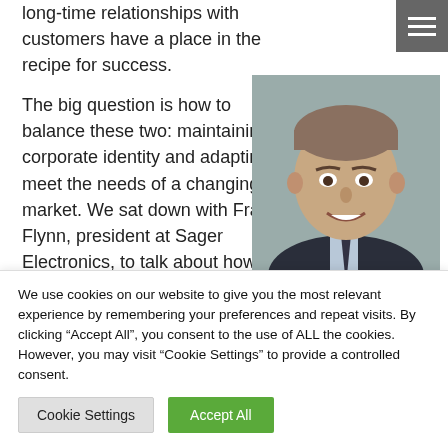long-time relationships with customers have a place in the recipe for success.
The big question is how to balance these two: maintaining corporate identity and adapting to meet the needs of a changing market. We sat down with Frank Flynn, president at Sager Electronics, to talk about how his company has maintained its long
[Figure (photo): Professional headshot of Frank Flynn, a middle-aged man in a dark suit with a striped tie, smiling, against a gray background.]
We use cookies on our website to give you the most relevant experience by remembering your preferences and repeat visits. By clicking “Accept All”, you consent to the use of ALL the cookies. However, you may visit "Cookie Settings" to provide a controlled consent.